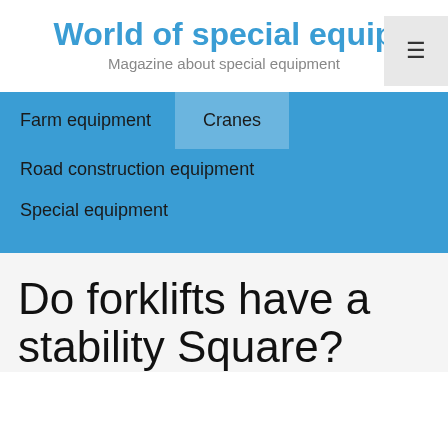World of special equip
Magazine about special equipment
Farm equipment
Cranes
Road construction equipment
Special equipment
Do forklifts have a stability Square?